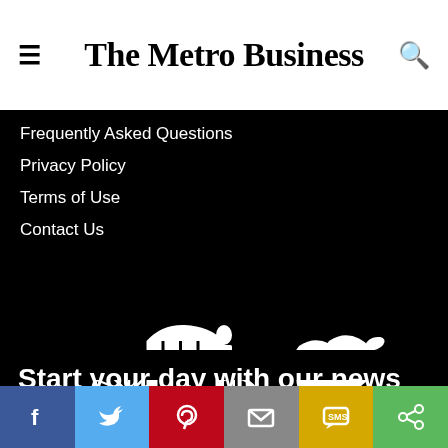The Metro Business
Frequently Asked Questions
Privacy Policy
Terms of Use
Contact Us
[Figure (logo): Metropolitan School of Business and Management UK logo with horse-drawn carriage silhouette in white on black background]
Start your day with our news digest for entrepreneurs.
[Figure (infographic): Social sharing bar with Facebook, Twitter, Pinterest, Email, SMS, and Share buttons]